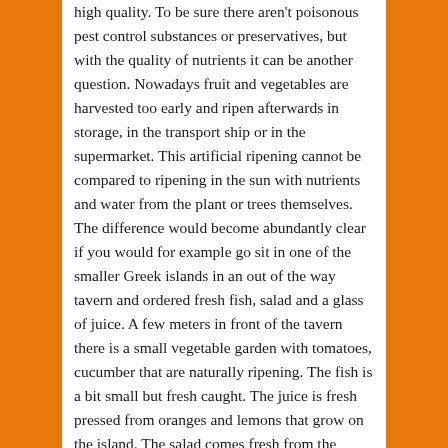high quality. To be sure there aren't poisonous pest control substances or preservatives, but with the quality of nutrients it can be another question. Nowadays fruit and vegetables are harvested too early and ripen afterwards in storage, in the transport ship or in the supermarket. This artificial ripening cannot be compared to ripening in the sun with nutrients and water from the plant or trees themselves. The difference would become abundantly clear if you would for example go sit in one of the smaller Greek islands in an out of the way tavern and ordered fresh fish, salad and a glass of juice. A few meters in front of the tavern there is a small vegetable garden with tomatoes, cucumber that are naturally ripening. The fish is a bit small but fresh caught. The juice is fresh pressed from oranges and lemons that grow on the island. The salad comes fresh from the vegetable garden. If you were to treat yourself to a meal like this then you could be sure that it would taste fantastic, that it would be full of vitality, fully crisp and full of